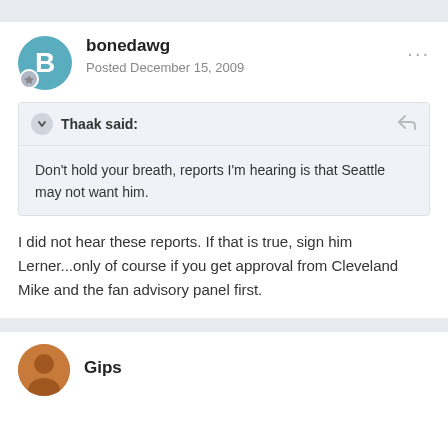bonedawg
Posted December 15, 2009
Thaak said:
Don't hold your breath, reports I'm hearing is that Seattle may not want him.
I did not hear these reports. If that is true, sign him Lerner...only of course if you get approval from Cleveland Mike and the fan advisory panel first.
Gips